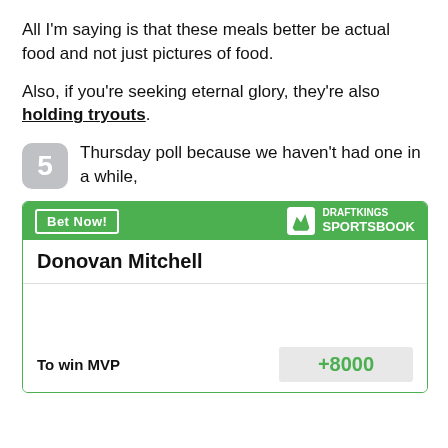All I'm saying is that these meals better be actual food and not just pictures of food.
Also, if you're seeking eternal glory, they're also holding tryouts.
5 Thursday poll because we haven't had one in a while,
[Figure (screenshot): DraftKings Sportsbook betting widget showing Donovan Mitchell to win MVP at +8000 odds, with a green header containing 'Bet Now!' button and DraftKings Sportsbook logo.]